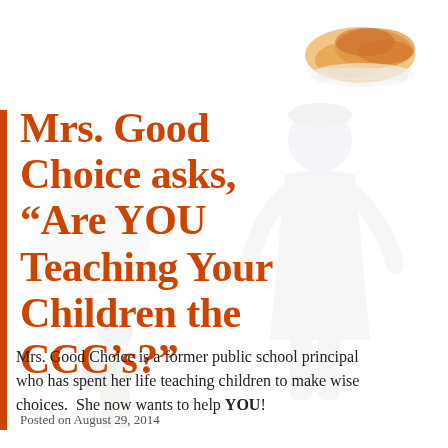[Figure (illustration): Faint watermark-style illustration of a teacher or principal figure in blue/gray tones with a child, plus decorative flame/leaf imagery in the top right corner]
Mrs. Good Choice asks, “Are YOU Teaching Your Children the CCC’s?”
Posted on August 29, 2014
Mrs. Good Choice is a former public school principal who has spent her life teaching children to make wise choices.  She now wants to help YOU!